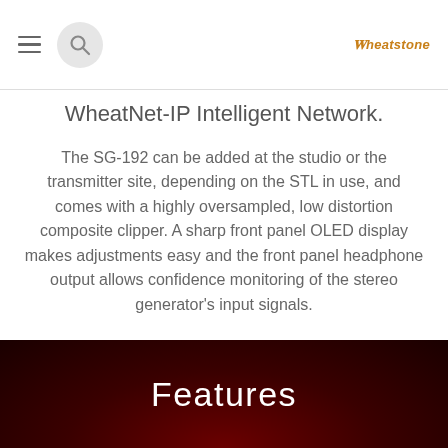WheatNet-IP Intelligent Network. [navigation header with menu, search, and Wheatstone logo]
WheatNet-IP Intelligent Network.
The SG-192 can be added at the studio or the transmitter site, depending on the STL in use, and comes with a highly oversampled, low distortion composite clipper. A sharp front panel OLED display makes adjustments easy and the front panel headphone output allows confidence monitoring of the stereo generator's input signals.
See more at: Wheatstone Audio Processing Technology Overview
Features